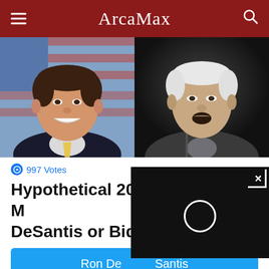ArcaMax
[Figure (photo): Two side-by-side photos: left shows Ron DeSantis smiling in official portrait with American flag background; right shows Joe Biden speaking at a podium against dark background]
997 Votes
Hypothetical 2024 Match-Up: DeSantis or Biden?
Ron DeSantis
Joe Biden